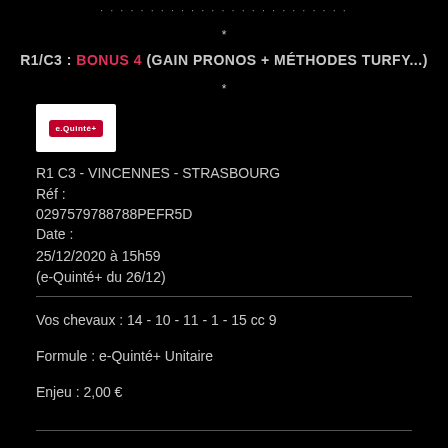* * * * * * * * * * * * * * * * * * * * * * *
*
R1/C3 : BONUS 4 (GAIN PRONOS + MÉTHODES TURFY...)
*
[Figure (logo): e-Quinté+ logo in red on white background]
R1 C3 - VINCENNES - STRASBOURG
Réf :
0297579788788PEFR5D
Date :
25/12/2020 à 15h59
(e-Quinté+ du 26/12)
Vos chevaux : 14 - 10 - 11 - 1 - 15 cc 9
Formule : e-Quinté+ Unitaire
Enjeu : 2,00 €